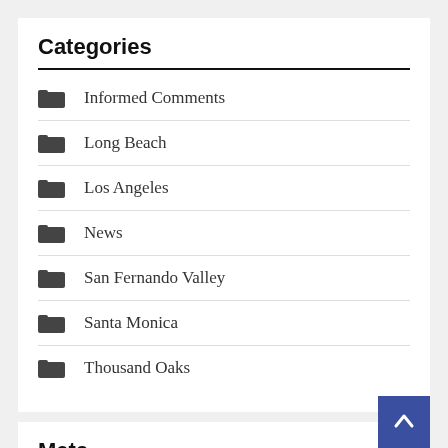Categories
Informed Comments
Long Beach
Los Angeles
News
San Fernando Valley
Santa Monica
Thousand Oaks
Meta
Log in